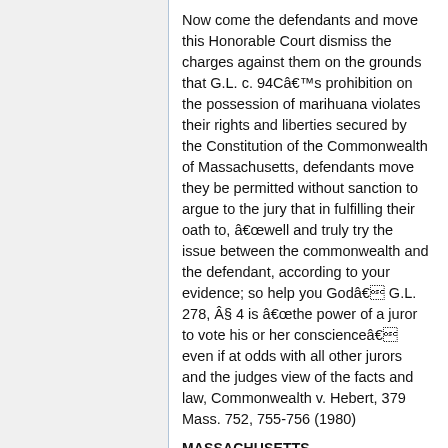Now come the defendants and move this Honorable Court dismiss the charges against them on the grounds that G.L. c. 94Câ€™s prohibition on the possession of marihuana violates their rights and liberties secured by the Constitution of the Commonwealth of Massachusetts, defendants move they be permitted without sanction to argue to the jury that in fulfilling their oath to, â€well and truly try the issue between the commonwealth and the defendant, according to your evidence; so help you Godâ€ G.L. 278, Â§ 4 is â€the power of a juror to vote his or her conscienceâ€ even if at odds with all other jurors and the judges view of the facts and law, Commonwealth v. Hebert, 379 Mass. 752, 755-756 (1980)
MASSACHUSETTS CONSTITUTIONAL